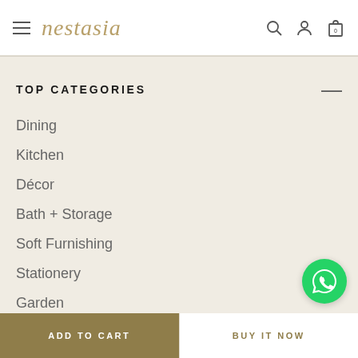nestasia — navigation header with hamburger menu, logo, search, user, and cart icons
TOP CATEGORIES
Dining
Kitchen
Décor
Bath + Storage
Soft Furnishing
Stationery
Garden
Shop All
ADD TO CART | BUY IT NOW